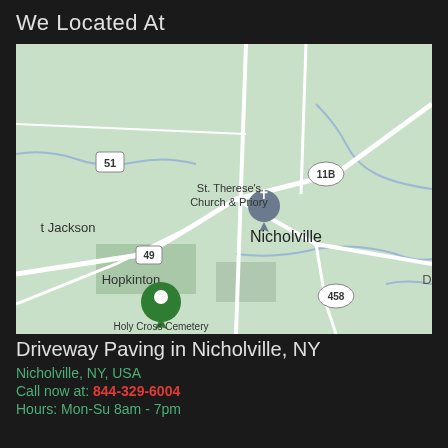We Located At
[Figure (map): Google Maps view showing Nicholville, NY area with roads, St. Therese's Church & Priory, Hopkinton, Holy Cross Cemetery, route markers 51, 11B, 49, 458, and a green location pin]
Driveway Paving in Nicholville, NY
Nicholville, NY, USA
Call now at: 844-329-6004
Hours: Mon-Su 8am - 7pm